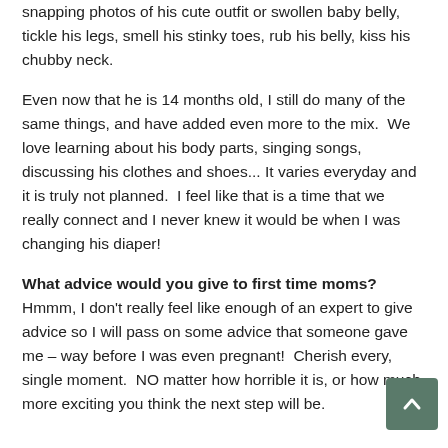snapping photos of his cute outfit or swollen baby belly, tickle his legs, smell his stinky toes, rub his belly, kiss his chubby neck.
Even now that he is 14 months old, I still do many of the same things, and have added even more to the mix.  We love learning about his body parts, singing songs, discussing his clothes and shoes... It varies everyday and it is truly not planned.  I feel like that is a time that we really connect and I never knew it would be when I was changing his diaper!
What advice would you give to first time moms?
Hmmm, I don't really feel like enough of an expert to give advice so I will pass on some advice that someone gave me – way before I was even pregnant!  Cherish every, single moment.  NO matter how horrible it is, or how much more exciting you think the next step will be.